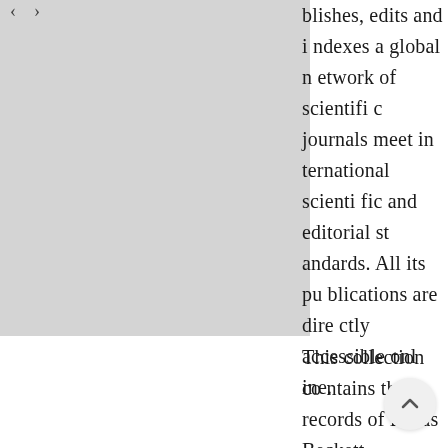[Figure (other): Gray placeholder image box with navigation arrows at top left]
blishes, edits and i ndexes a global n etwork of scientifi c journals meet in ternational scienti fic and editorial st andards. All its pu blications are dire ctly accessible onl ine.
This collection co ntains the records of Leeds Beckett University Reposi tory, the institutio